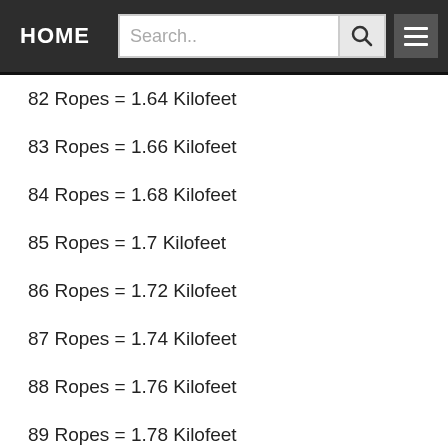HOME | Search..
82 Ropes = 1.64 Kilofeet
83 Ropes = 1.66 Kilofeet
84 Ropes = 1.68 Kilofeet
85 Ropes = 1.7 Kilofeet
86 Ropes = 1.72 Kilofeet
87 Ropes = 1.74 Kilofeet
88 Ropes = 1.76 Kilofeet
89 Ropes = 1.78 Kilofeet
90 Ropes = 1.8 Kilofeet
91 Ropes = 1.82 Kilofeet
92 Ropes = 1.84 Kilofeet